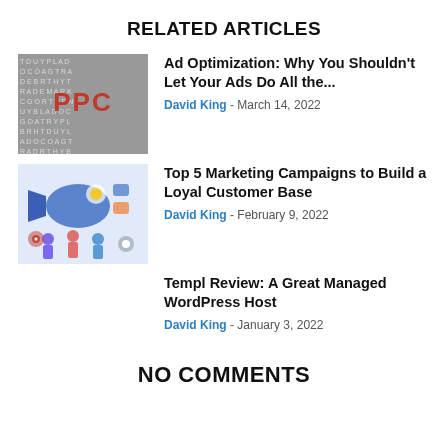RELATED ARTICLES
[Figure (photo): Black and white letter tiles background with red PPC text in center]
Ad Optimization: Why You Shouldn't Let Your Ads Do All the...
David King - March 14, 2022
[Figure (illustration): Marketing illustration with blue megaphone, people, and social media icons]
Top 5 Marketing Campaigns to Build a Loyal Customer Base
David King - February 9, 2022
Templ Review: A Great Managed WordPress Host
David King - January 3, 2022
NO COMMENTS